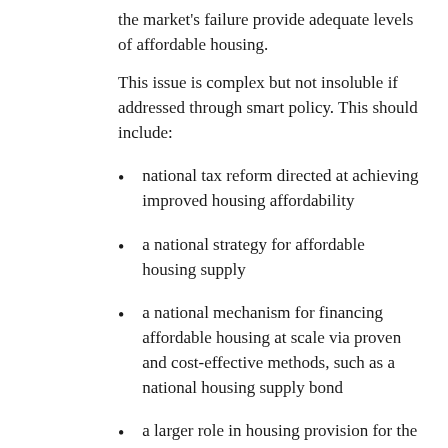the market's failure provide adequate levels of affordable housing.
This issue is complex but not insoluble if addressed through smart policy. This should include:
national tax reform directed at achieving improved housing affordability
a national strategy for affordable housing supply
a national mechanism for financing affordable housing at scale via proven and cost-effective methods, such as a national housing supply bond
a larger role in housing provision for the non-profit sector